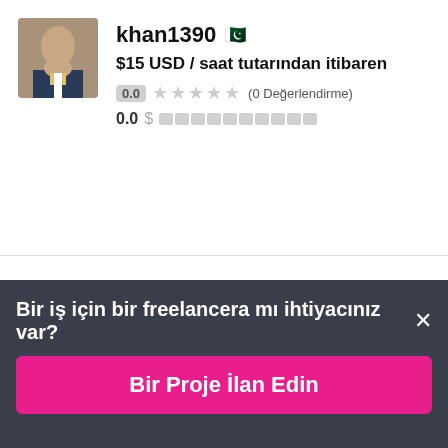khan1390 🇵🇰
$15 USD / saat tutarından itibaren
0.0 ★★★★★ (0 Değerlendirme)
0.0 $
ShakibOsman81 🇦🇫
$10 USD / saat tutarından itibaren
Bir iş için bir freelancera mı ihtiyacınız var? ×
Bir Proje İlan Edin